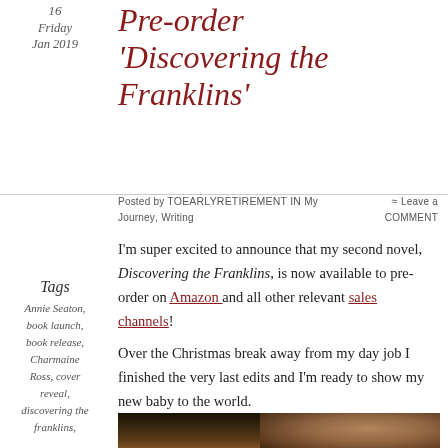16
Friday
Jan 2019
Pre-order 'Discovering the Franklins'
Posted by toearlyretirement in My Journey, Writing ≈ Leave a comment
I'm super excited to announce that my second novel, Discovering the Franklins, is now available to pre-order on Amazon and all other relevant sales channels!
Tags
Annie Seaton, book launch, book release, Charmaine Ross, cover reveal, discovering the franklins,
Over the Christmas break away from my day job I finished the very last edits and I'm ready to show my new baby to the world.
[Figure (photo): Dark photo of a woman holding flowers]